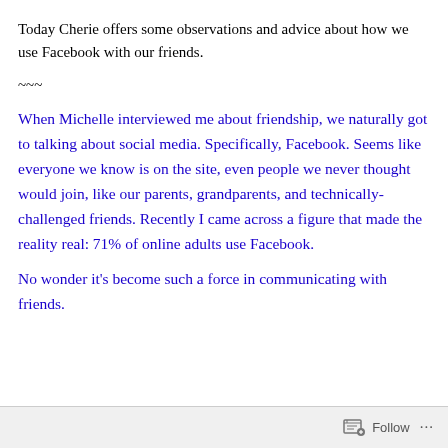Today Cherie offers some observations and advice about how we use Facebook with our friends.
~~~
When Michelle interviewed me about friendship, we naturally got to talking about social media. Specifically, Facebook. Seems like everyone we know is on the site, even people we never thought would join, like our parents, grandparents, and technically-challenged friends. Recently I came across a figure that made the reality real: 71% of online adults use Facebook.
No wonder it's become such a force in communicating with friends.
Follow ...